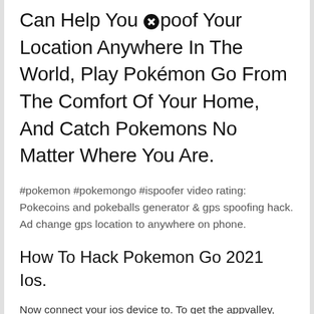Can Help You Spoof Your Location Anywhere In The World, Play Pokémon Go From The Comfort Of Your Home, And Catch Pokemons No Matter Where You Are.
#pokemon #pokemongo #ispoofer video rating: Pokecoins and pokeballs generator & gps spoofing hack. Ad change gps location to anywhere on phone.
How To Hack Pokemon Go 2021 Ios.
Now connect your ios device to. To get the appvalley, you have to download it. To